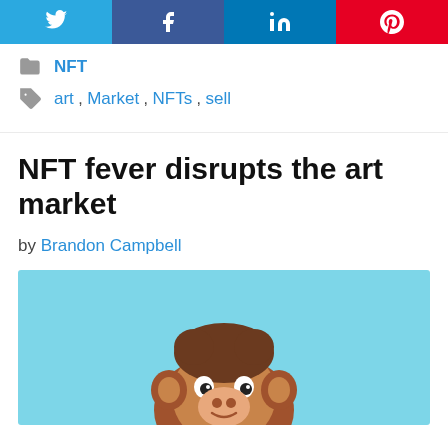[Figure (other): Social share buttons row: Twitter (blue), Facebook (dark blue), LinkedIn (blue), Pinterest (red), each with icon]
NFT
art, Market, NFTs, sell
NFT fever disrupts the art market
by Brandon Campbell
[Figure (illustration): Cartoon illustration of a monkey character on a light blue background, partially visible]